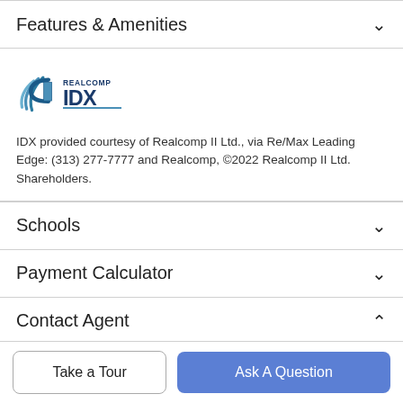Features & Amenities
[Figure (logo): Realcomp IDX logo — stylized wave/C shape in blue on left, REALCOMP text above IDX in dark blue on right]
IDX provided courtesy of Realcomp II Ltd., via Re/Max Leading Edge: (313) 277-7777 and Realcomp, ©2022 Realcomp II Ltd. Shareholders.
Schools
Payment Calculator
Contact Agent
Take a Tour
Ask A Question